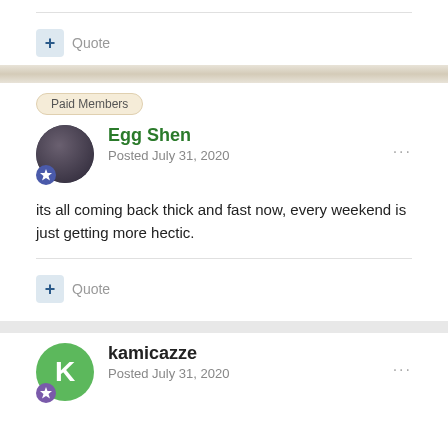+ Quote
Paid Members
Egg Shen
Posted July 31, 2020
its all coming back thick and fast now, every weekend is just getting more hectic.
+ Quote
kamicazze
Posted July 31, 2020